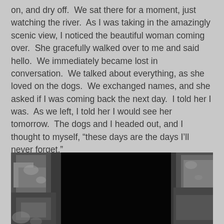on, and dry off.  We sat there for a moment, just watching the river.  As I was taking in the amazingly scenic view, I noticed the beautiful woman coming over.  She gracefully walked over to me and said hello.  We immediately became lost in conversation.  We talked about everything, as she loved on the dogs.  We exchanged names, and she asked if I was coming back the next day.  I told her I was.  As we left, I told her I would see her tomorrow.  The dogs and I headed out, and I thought to myself, “these days are the days I’ll never forget.”
[Figure (photo): A dark photograph showing rocky or textured surfaces with a mostly black center and some rock-like texture visible on the left and right edges.]